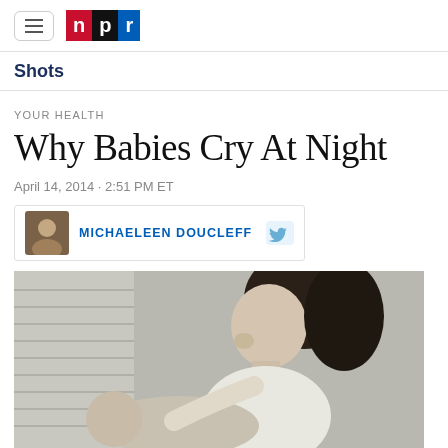NPR logo and navigation
Shots
YOUR HEALTH
Why Babies Cry At Night
April 14, 2014 · 2:51 PM ET
MICHAELEEN DOUCLEFF
[Figure (photo): Black and white vintage photograph of a woman with dark curly hair looking down at a baby she is holding, with window shutters in the background.]